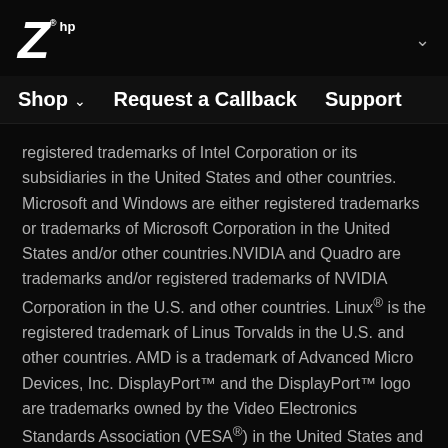Z hp logo with chevron
Shop  Request a Callback  Support
registered trademarks of Intel Corporation or its subsidiaries in the United States and other countries. Microsoft and Windows are either registered trademarks or trademarks of Microsoft Corporation in the United States and/or other countries. NVIDIA and Quadro are trademarks and/or registered trademarks of NVIDIA Corporation in the U.S. and other countries. Linux® is the registered trademark of Linus Torvalds in the U.S. and other countries. AMD is a trademark of Advanced Micro Devices, Inc. DisplayPort™ and the DisplayPort™ logo are trademarks owned by the Video Electronics Standards Association (VESA®) in the United States and other countries. USB Type-C® and USB-C® are trademarks of USB Implementers Forum.